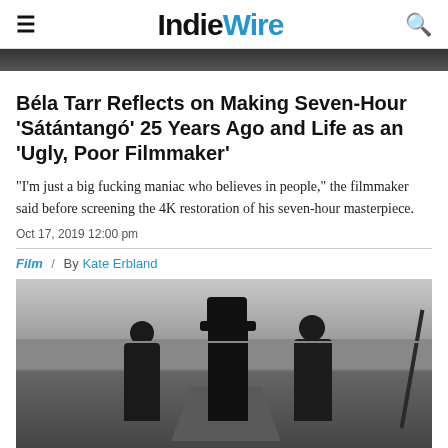IndieWire
[Figure (photo): Top portion of a black and white film still, cropped at the top of the page]
Béla Tarr Reflects on Making Seven-Hour 'Sátántangó' 25 Years Ago and Life as an 'Ugly, Poor Filmmaker'
“I’m just a big fucking maniac who believes in people,” the filmmaker said before screening the 4K restoration of his seven-hour masterpiece.
Oct 17, 2019 12:00 pm
Film / By Kate Erbland
[Figure (photo): Black and white film still from Sátántangó showing three figures walking away from camera down a rural path, overcast sky in background]